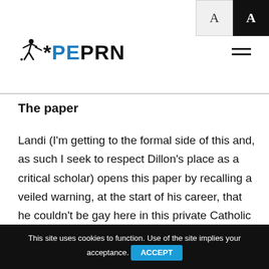PEPRN
The paper
Landi (I'm getting to the formal side of this and, as such I seek to respect Dillon's place as a critical scholar) opens this paper by recalling a veiled warning, at the start of his career, that he couldn't be gay here in this private Catholic school. Not in this space. With this principal. That road was a light-speed journey to unemployment. To be a physical
This site uses cookies to function. Use of the site implies your acceptance. ACCEPT